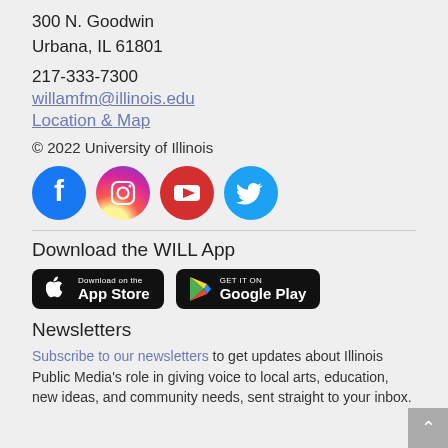300 N. Goodwin
Urbana, IL 61801
217-333-7300
willamfm@illinois.edu
Location & Map
© 2022 University of Illinois
[Figure (infographic): Four social media icons: Facebook (blue circle with white f), Instagram (gradient circle with camera outline), YouTube (red circle with white play button), Twitter (cyan circle with white bird)]
Download the WILL App
[Figure (infographic): App Store download button (black rounded rectangle with Apple logo and 'Download on the App Store' text) and Google Play button (black rounded rectangle with Play triangle logo and 'GET IT ON Google Play' text)]
Newsletters
Subscribe to our newsletters to get updates about Illinois Public Media's role in giving voice to local arts, education, new ideas, and community needs, sent straight to your inbox.